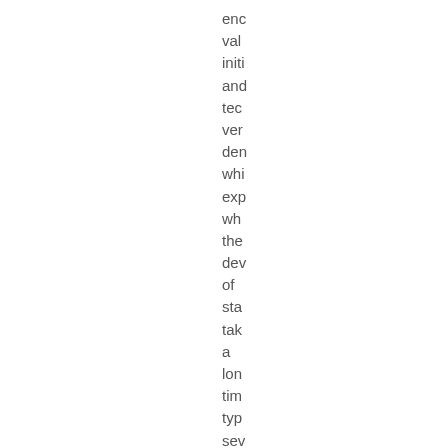enc val init and tec ver den whi exp wh the dev of sta tak a lon tim typ sev yea It